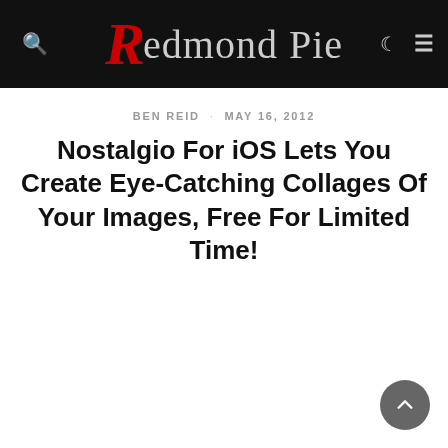Redmond Pie
BEN REID · MAY 16, 2012
Nostalgio For iOS Lets You Create Eye-Catching Collages Of Your Images, Free For Limited Time!